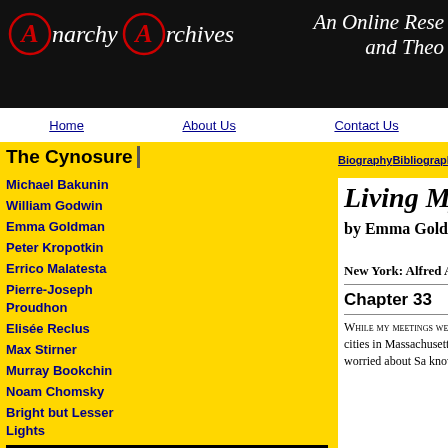[Figure (logo): Anarchy Archives website header with logo circles containing A symbol, site name 'Anarchy Archives' in italic, and tagline 'An Online Research and Theory...' on black background]
Home | About Us | Contact Us
Biography | Bibliography | Colle...
Living My L...
by Emma Goldm...
Volume one
New York: Alfred A Knopf
Chapter 33
WHILE MY MEETINGS WERE BEING SU... Sasha was subjected to similar persecution in t... stopped in a number of cities in Massachusetts... demonstrations of the unemployed at which he... dispersed by the police. I was worried about Sa... know whether it was necessary for me to retur...
The Cynosure
Michael Bakunin
William Godwin
Emma Goldman
Peter Kropotkin
Errico Malatesta
Pierre-Joseph Proudhon
Elisée Reclus
Max Stirner
Murray Bookchin
Noam Chomsky
Bright but Lesser Lights
Cold Off The Presses
Pamphlets
Periodicals